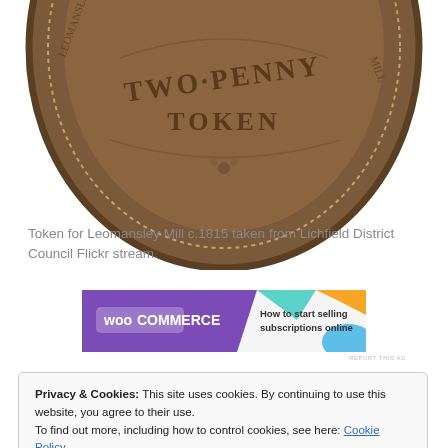[Figure (photo): Close-up photograph of a Two Penny Token for Leomansley Mill c.1815, showing the reverse of a bronze coin with the text TWO PENNY TOKEN embossed, surrounded by a dotted border.]
Token for Leomansley Mill c.1815 taken from Lichfield District Council Flickr stream.
[Figure (screenshot): WooCommerce advertisement banner: 'How to start selling subscriptions online']
Privacy & Cookies: This site uses cookies. By continuing to use this website, you agree to their use.
To find out more, including how to control cookies, see here: Cookie Policy
[Close and accept button]